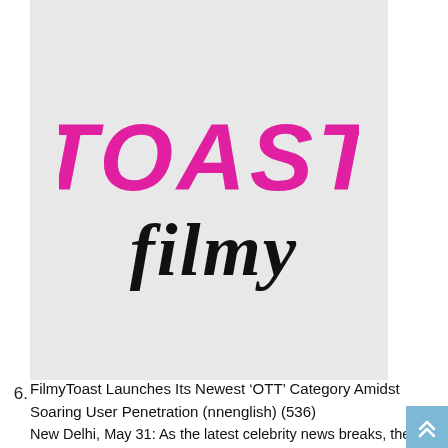[Figure (logo): FilmyToast logo: 'TOAST' in large bold magenta/pink italic uppercase letters, and 'filmy' in large black cursive/script italic text below, on a light gray background.]
6. FilmyToast Launches Its Newest ‘OTT’ Category Amidst Soaring User Penetration (nnenglish) (536)
New Delhi, May 31: As the latest celebrity news breaks, there remains no chance of it not floating across the internet. The carriers of such breaking
[Figure (illustration): Miles Web Announces the Biggest Black Friday Deals promotional image: dark navy background with dot network graphics, white text on left side, and a white box with 'BLACK FRIDAY ...' on the right.]